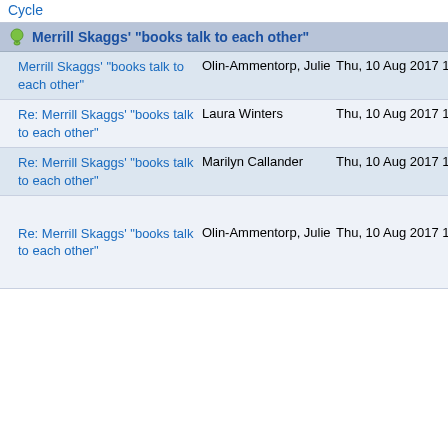Cycle
Merrill Skaggs' "books talk to each other"
| Subject | Sender | Date | Size |
| --- | --- | --- | --- |
| Merrill Skaggs' "books talk to each other" | Olin-Ammentorp, Julie | Thu, 10 Aug 2017 12:43:37 -0400 | 49 |
| Re: Merrill Skaggs' "books talk to each other" | Laura Winters | Thu, 10 Aug 2017 13:58:01 -0400 | 68 |
| Re: Merrill Skaggs' "books talk to each other" | Marilyn Callander | Thu, 10 Aug 2017 14:00:01 -0400 | 71 |
| Re: Merrill Skaggs' "books talk to each other" | Olin-Ammentorp, Julie | Thu, 10 Aug 2017 16:06:06 -0400 | 96 |